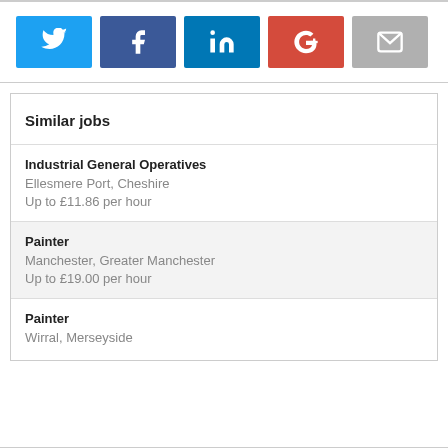[Figure (infographic): Social share buttons: Twitter (blue), Facebook (dark blue), LinkedIn (blue), Google+ (red), Email (grey)]
Similar jobs
Industrial General Operatives
Ellesmere Port, Cheshire
Up to £11.86 per hour
Painter
Manchester, Greater Manchester
Up to £19.00 per hour
Painter
Wirral, Merseyside